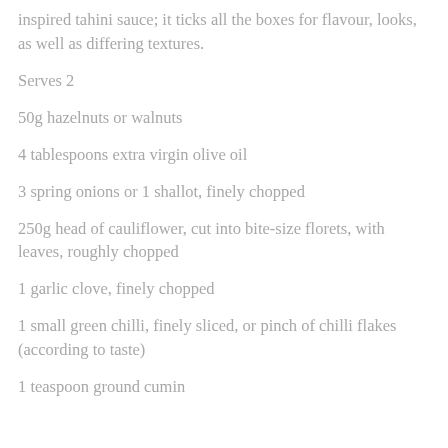inspired tahini sauce; it ticks all the boxes for flavour, looks, as well as differing textures.
Serves 2
50g hazelnuts or walnuts
4 tablespoons extra virgin olive oil
3 spring onions or 1 shallot, finely chopped
250g head of cauliflower, cut into bite-size florets, with leaves, roughly chopped
1 garlic clove, finely chopped
1 small green chilli, finely sliced, or pinch of chilli flakes (according to taste)
1 teaspoon ground cumin